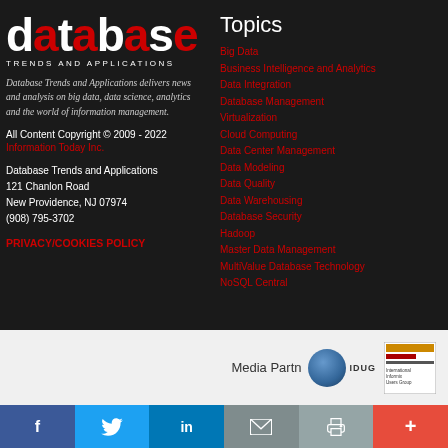[Figure (logo): Database Trends and Applications logo - white and red text on dark background]
TRENDS AND APPLICATIONS
Database Trends and Applications delivers news and analysis on big data, data science, analytics and the world of information management.
All Content Copyright © 2009 - 2022
Information Today Inc.
Database Trends and Applications
121 Chanlon Road
New Providence, NJ 07974
(908) 795-3702
PRIVACY/COOKIES POLICY
Topics
Big Data
Business Intelligence and Analytics
Data Integration
Database Management
Virtualization
Cloud Computing
Data Center Management
Data Modeling
Data Quality
Data Warehousing
Database Security
Hadoop
Master Data Management
MultiValue Database Technology
NoSQL Central
Media Partn
[Figure (logo): IDUG logo - blue sphere with IDUG text]
[Figure (logo): International Information Users Group logo]